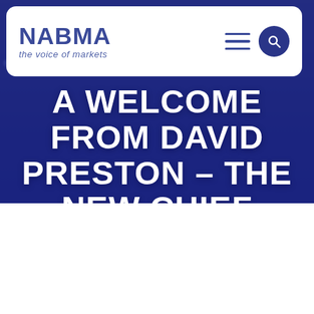[Figure (screenshot): NABMA website screenshot showing navigation bar with NABMA logo ('the voice of markets'), hamburger menu icon, and search button on a white rounded rectangle, overlaid on a blue-tinted crowd background image]
A WELCOME FROM DAVID PRESTON – THE NEW CHIEF EXECUTIVE OF NABMA